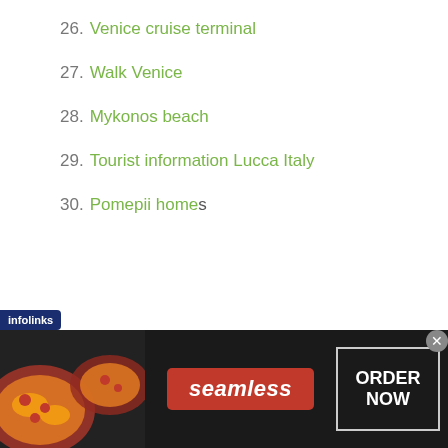26. Venice cruise terminal
27. Walk Venice
28. Mykonos beach
29. Tourist information Lucca Italy
30. Pomepii homes
[Figure (illustration): Travel-themed illustration with a house/home tag icon in yellow and a blue airplane silhouette, partially cut off by an advertisement banner]
[Figure (screenshot): Seamless food delivery advertisement banner with pizza image on left, red Seamless logo in center, and ORDER NOW button on right with a close X button]